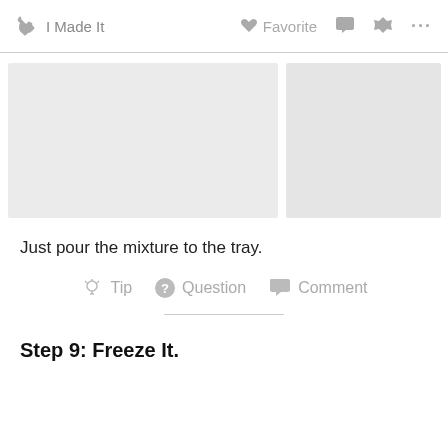I Made It   Favorite   Comment   Share   ...
[Figure (photo): Two placeholder image areas side by side showing a cooking step]
Just pour the mixture to the tray.
Tip   Question   Comment
Step 9: Freeze It.